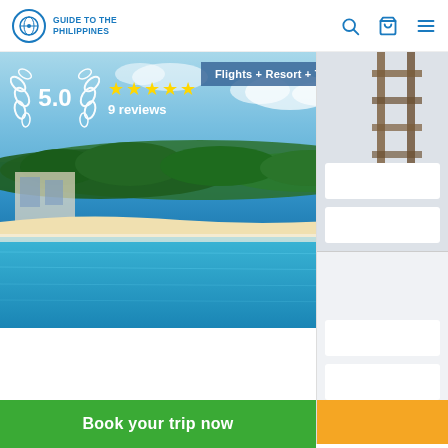GUIDE TO THE PHILIPPINES
[Figure (photo): Aerial/beach resort photo showing blue swimming pool, tropical trees, sandy beach, and ocean in the background. Rating overlay with 5.0 stars and 9 reviews. Badge saying Flights + Resort + Transfers.]
4D3N Boracay Package with Air... Resort from Manili...
Tour starts
Manila, Metro Ma...
S... at...
Book your trip now